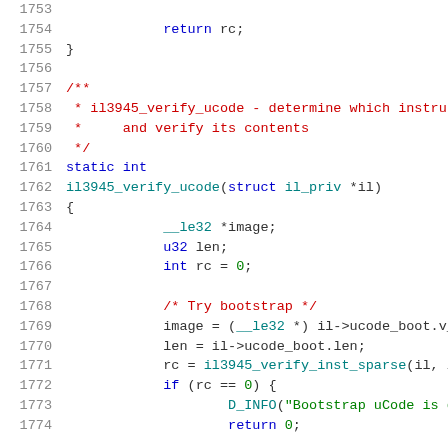Source code listing lines 1753-1774, C programming language
1753 (blank)
1754     return rc;
1755 }
1756 (blank)
1757 /**
1758  * il3945_verify_ucode - determine which instru
1759  *     and verify its contents
1760  */
1761 static int
1762 il3945_verify_ucode(struct il_priv *il)
1763 {
1764         __le32 *image;
1765         u32 len;
1766         int rc = 0;
1767 (blank)
1768         /* Try bootstrap */
1769         image = (__le32 *) il->ucode_boot.v_add
1770         len = il->ucode_boot.len;
1771         rc = il3945_verify_inst_sparse(il, imag
1772         if (rc == 0) {
1773                 D_INFO("Bootstrap uCode is good
1774                 return 0;